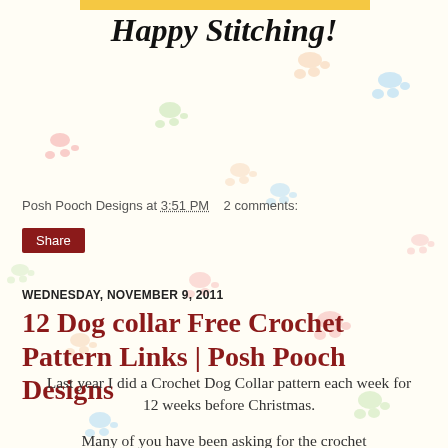Happy Stitching!
Posh Pooch Designs at 3:51 PM   2 comments:
Share
WEDNESDAY, NOVEMBER 9, 2011
12 Dog collar Free Crochet Pattern Links | Posh Pooch Designs
Last year I did a Crochet Dog Collar pattern each week for 12 weeks before Christmas.
Many of you have been asking for the crochet patterns, so I am making a listing right here with the links to find them.